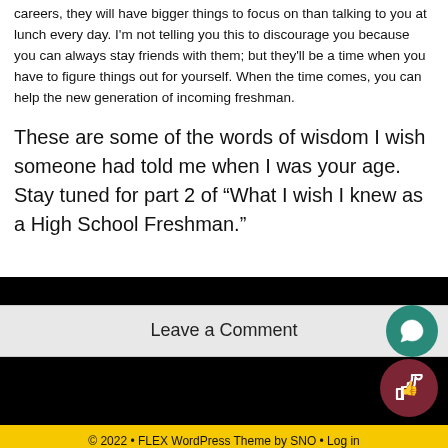careers, they will have bigger things to focus on than talking to you at lunch every day. I'm not telling you this to discourage you because you can always stay friends with them; but they'll be a time when you have to figure things out for yourself. When the time comes, you can help the new generation of incoming freshman.
These are some of the words of wisdom I wish someone had told me when I was your age. Stay tuned for part 2 of “What I wish I knew as a High School Freshman.”
Leave a Comment
© 2022 • FLEX WordPress Theme by SNO • Log in